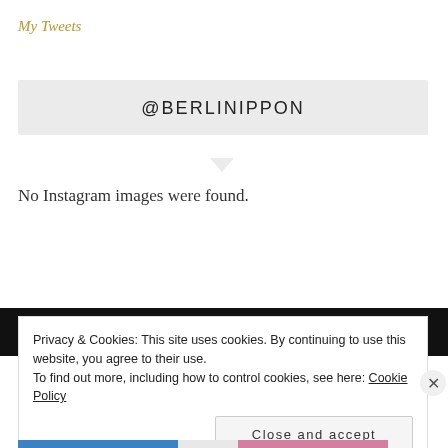My Tweets
@BERLINIPPON
No Instagram images were found.
Privacy & Cookies: This site uses cookies. By continuing to use this website, you agree to their use.
To find out more, including how to control cookies, see here: Cookie Policy
Close and accept